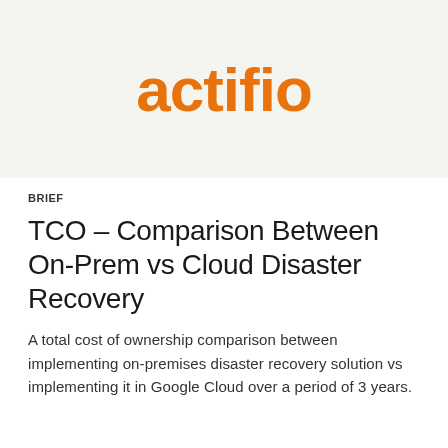[Figure (logo): Actifio logo in orange text on a light beige/gray background banner]
BRIEF
TCO – Comparison Between On-Prem vs Cloud Disaster Recovery
A total cost of ownership comparison between implementing on-premises disaster recovery solution vs implementing it in Google Cloud over a period of 3 years.